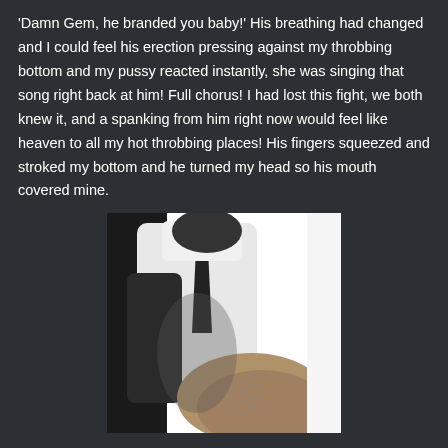'Damn Gem, he branded you baby!' His breathing had changed and I could feel his erection pressing against my throbbing bottom and my pussy reacted instantly, she was singing that song right back at him! Full chorus! I had lost this fight, we both knew it, and a spanking from him right now would feel like heaven to all my hot throbbing places! His fingers squeezed and stroked my bottom and he turned my head so his mouth covered mine.
[Figure (photo): Black and white photograph of a person in a white shirt and dark tie leaning over, with the back/bottom of another person visible in the foreground.]